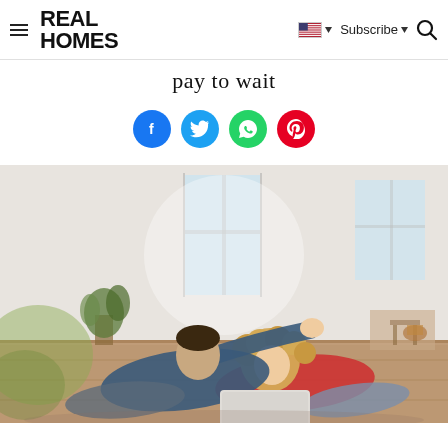REAL HOMES — Subscribe — [flag] [search]
pay to wait
[Figure (infographic): Row of four social sharing icons: Facebook (blue circle with f), Twitter (blue circle with bird), WhatsApp (green circle with phone), Pinterest (red circle with P)]
[Figure (photo): A young couple lying on a wooden floor in a bright white room. The man is pointing to the side while a woman with curly hair looks in that direction. They have a tablet/laptop in front of them. There are plants and furniture visible in the background.]